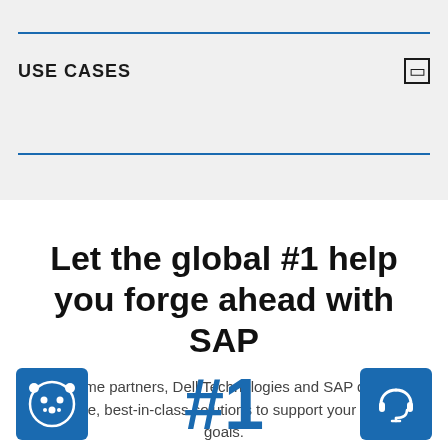USE CASES
Let the global #1 help you forge ahead with SAP
Long-time partners, Dell Technologies and SAP develop innovative, best-in-class solutions to support your business goals.
[Figure (logo): Blue square logo with a stylized cookie/bear face icon]
#1
[Figure (logo): Blue square icon with a headset/support symbol]